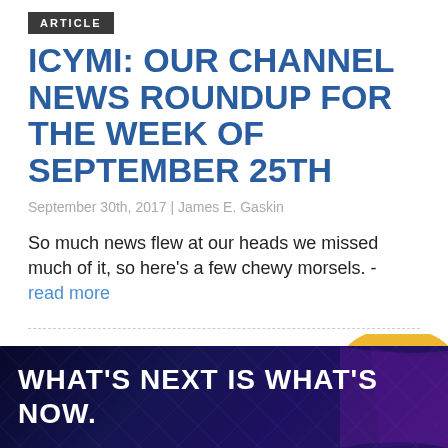ARTICLE
ICYMI: OUR CHANNEL NEWS ROUNDUP FOR THE WEEK OF SEPTEMBER 25TH
September 30th, 2017 | James E. Gaskin
So much news flew at our heads we missed much of it, so here’s a few chewy morsels. - read more
SLIDE GALLERY
[Figure (photo): Partial image of a hamburger bun visible in the upper right of the slide gallery section]
[Figure (infographic): Dark blue banner with grid/diamond pattern overlay and text WHAT’S NEXT IS WHAT’S NOW.]